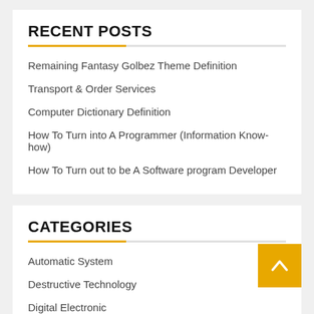RECENT POSTS
Remaining Fantasy Golbez Theme Definition
Transport & Order Services
Computer Dictionary Definition
How To Turn into A Programmer (Information Know-how)
How To Turn out to be A Software program Developer
CATEGORIES
Automatic System
Destructive Technology
Digital Electronic
General
internet marketing